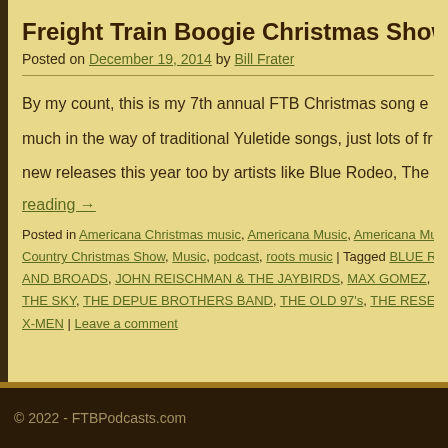Freight Train Boogie Christmas Show, 20
Posted on December 19, 2014 by Bill Frater
By my count, this is my 7th annual FTB Christmas song e much in the way of traditional Yuletide songs, just lots of f new releases this year too by artists like Blue Rodeo, The reading →
Posted in Americana Christmas music, Americana Music, Americana Music p Country Christmas Show, Music, podcast, roots music | Tagged BLUE RODE AND BROADS, JOHN REISCHMAN & THE JAYBIRDS, MAX GOMEZ, NIKK THE SKY, THE DEPUE BROTHERS BAND, THE OLD 97's, THE RESENTM X-MEN | Leave a comment
© 2022 - FTBPodcasts.com